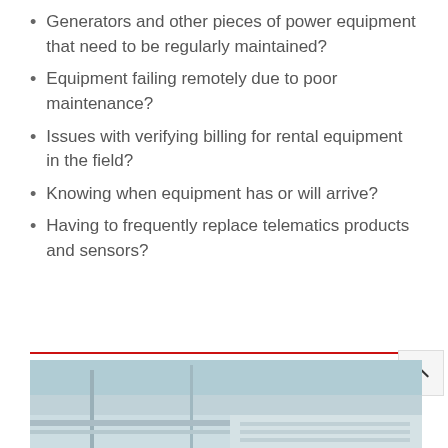Generators and other pieces of power equipment that need to be regularly maintained?
Equipment failing remotely due to poor maintenance?
Issues with verifying billing for rental equipment in the field?
Knowing when equipment has or will arrive?
Having to frequently replace telematics products and sensors?
[Figure (photo): Exterior photo of a building with glass panels and metal structure, partially visible at the bottom of the page]